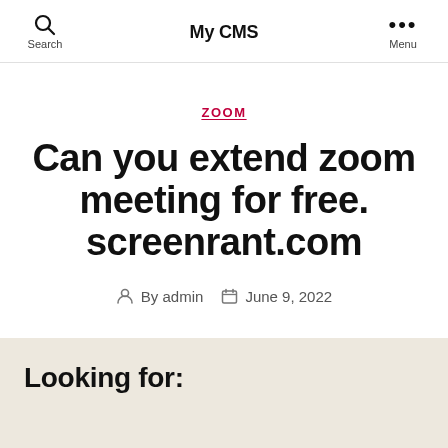Search  My CMS  Menu
ZOOM
Can you extend zoom meeting for free. screenrant.com
By admin  June 9, 2022
Looking for: